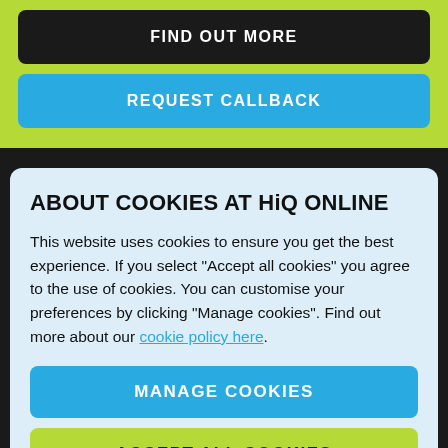FIND OUT MORE
REQUEST CALLBACK
ABOUT COOKIES AT HiQ ONLINE
This website uses cookies to ensure you get the best experience. If you select "Accept all cookies" you agree to the use of cookies. You can customise your preferences by clicking "Manage cookies". Find out more about our cookie policy here.
MANAGE COOKIES
ACCEPT ALL COOKIES